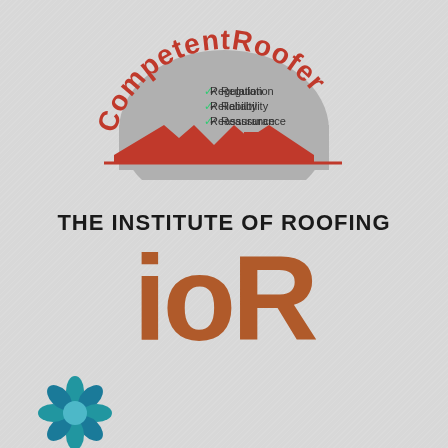[Figure (logo): CompetentRoofer logo — red arc text 'CompetentRoofer' over a grey dome shape with green checkmarks listing Regulation, Reliability, Reassurance, and a red roofline silhouette below]
[Figure (logo): Institute of Roofing (IOR) logo — text 'THE INSTITUTE OF ROOFING' above large brown letters 'ioR']
[Figure (logo): Partial logo at bottom left — a blue and teal decorative shield/flower emblem, partially visible]